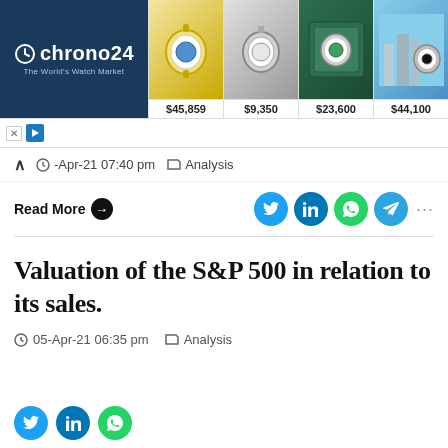[Figure (screenshot): Chrono24 advertisement banner showing luxury watches with prices: $45,859, $9,350, $23,600, $44,100]
-Apr-21 07:40 pm   Analysis
Read More
Valuation of the S&P 500 in relation to its sales.
05-Apr-21 06:35 pm   Analysis